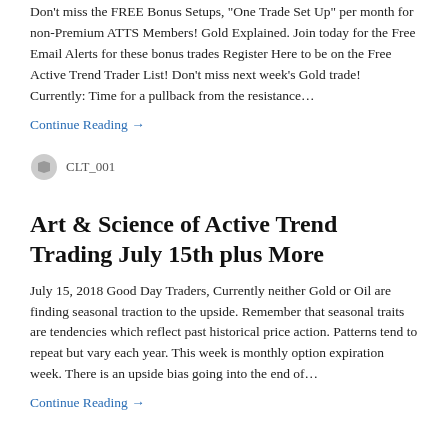Don't miss the FREE Bonus Setups, "One Trade Set Up" per month for non-Premium ATTS Members! Gold Explained. Join today for the Free Email Alerts for these bonus trades Register Here to be on the Free Active Trend Trader List!  Don't miss next week's Gold trade!   Currently:  Time for a pullback from the resistance…
Continue Reading →
CLT_001
Art & Science of Active Trend Trading July 15th plus More
July 15, 2018 Good Day Traders, Currently neither Gold or Oil are finding seasonal traction to the upside.  Remember that seasonal traits are tendencies which reflect past historical price action. Patterns tend to repeat but vary each year. This week is monthly option expiration week.  There is an upside bias going into the end of…
Continue Reading →